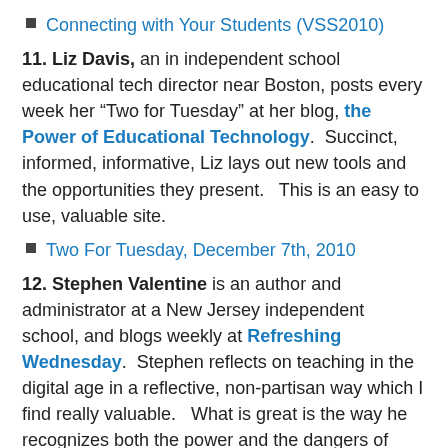Connecting with Your Students (VSS2010)
11. Liz Davis, an in independent school educational tech director near Boston, posts every week her “Two for Tuesday” at her blog, the Power of Educational Technology.  Succinct, informed, informative, Liz lays out new tools and the opportunities they present.   This is an easy to use, valuable site.
Two For Tuesday, December 7th, 2010
12. Stephen Valentine is an author and administrator at a New Jersey independent school, and blogs weekly at Refreshing Wednesday.  Stephen reflects on teaching in the digital age in a reflective, non-partisan way which I find really valuable.   What is great is the way he recognizes both the power and the dangers of digital schooling: he is